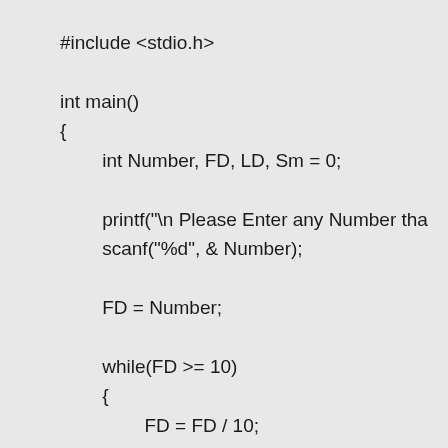#include <stdio.h>

int main()
{
        int Number, FD, LD, Sm = 0;

        printf("\n Please Enter any Number tha
        scanf("%d", & Number);

        FD = Number;

        while(FD >= 10)
        {
                FD = FD / 10;
        }

        LD = Number % 10;

        Sm = FD + LastDigit;

        printf(" \n The Sum of First Digit (%d) a